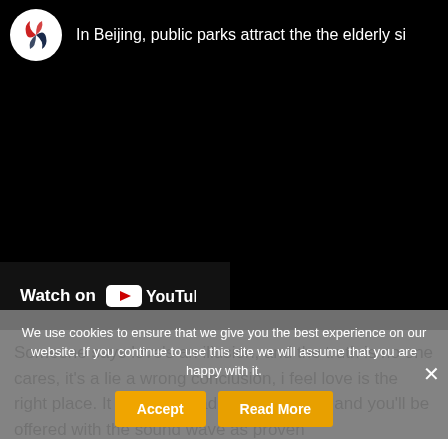[Figure (screenshot): Embedded YouTube video player showing a black screen with SC logo and title 'In Beijing, public parks attract the the elderly si...' at top, and 'Watch on YouTube' button at bottom left.]
We use cookies to ensure that we give you the best experience on our website. If you continue to use this site we will assume that you are happy with it.
Someone says love's an illusion, and the truth is no one cares, it's a lie a wrong conclusion, i feel... It is going to add mechanically and you'll be offered with the sound wave as proven